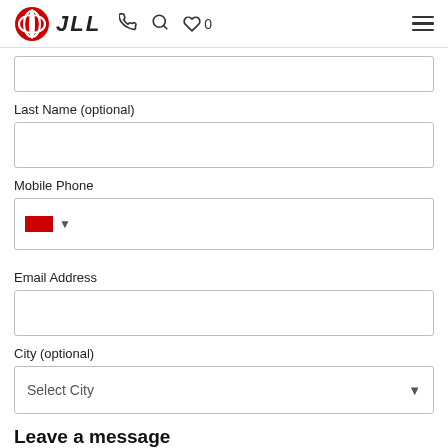JLL
Last Name (optional)
Mobile Phone
Email Address
City (optional)
Select City
Leave a message